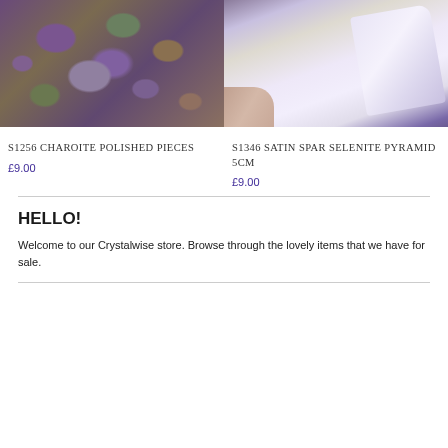[Figure (photo): Charoite polished pieces — multiple tumbled purple and green-grey stones on a purple background]
[Figure (photo): Satin spar selenite pyramid 5cm — a translucent white pyramid being held by a hand against purple background]
S1256 CHAROITE POLISHED PIECES
£9.00
S1346 SATIN SPAR SELENITE PYRAMID 5CM
£9.00
HELLO!
Welcome to our Crystalwise store. Browse through the lovely items that we have for sale.